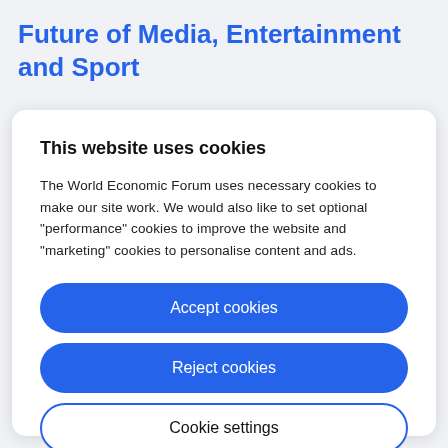Future of Media, Entertainment and Sport
This website uses cookies
The World Economic Forum uses necessary cookies to make our site work. We would also like to set optional "performance" cookies to improve the website and "marketing" cookies to personalise content and ads.
Accept cookies
Reject cookies
Cookie settings